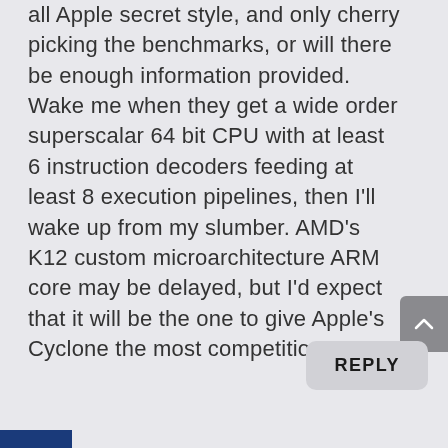all Apple secret style, and only cherry picking the benchmarks, or will there be enough information provided. Wake me when they get a wide order superscalar 64 bit CPU with at least 6 instruction decoders feeding at least 8 execution pipelines, then I'll wake up from my slumber. AMD's K12 custom microarchitecture ARM core may be delayed, but I'd expect that it will be the one to give Apple's Cyclone the most competition.